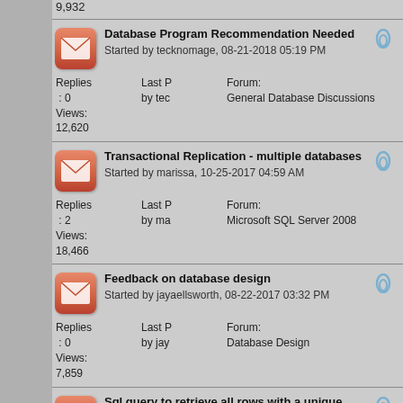9,932
Database Program Recommendation Needed
Started by tecknomage, 08-21-2018 05:19 PM
Replies: 0  Last P by tec  Forum: General Database Discussions
Views: 12,620
Transactional Replication - multiple databases
Started by marissa, 10-25-2017 04:59 AM
Replies: 2  Last P by ma  Forum: Microsoft SQL Server 2008
Views: 18,466
Feedback on database design
Started by jayaellsworth, 08-22-2017 03:32 PM
Replies: 0  Last P by jay  Forum: Database Design
Views: 7,859
Sql query to retrieve all rows with a unique column
Started by ats00, 03-22-2016 08:48 PM